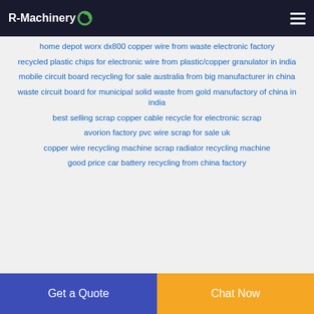R-Machinery
home depot worx dx800 copper wire from waste electronic factory
recycled plastic chips for electronic wire from plastic/copper granulator in india
mobile circuit board recycling for sale australia from big manufacturer in china
waste circuit board for municipal solid waste from gold manufactory of china in india
best selling scrap copper cable recycle for electronic scrap
avorion factory pvc wire scrap for sale uk
copper wire recycling machine scrap radiator recycling machine
good price car battery recycling from china factory
Get a Quote | Chat Now